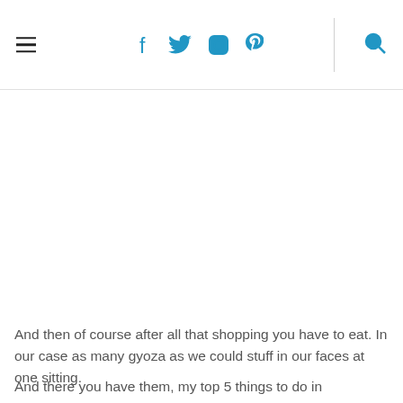Navigation bar with hamburger menu, social icons (f, twitter, instagram, pinterest), divider, and search icon
And then of course after all that shopping you have to eat. In our case as many gyoza as we could stuff in our faces at one sitting.
And there you have them, my top 5 things to do in